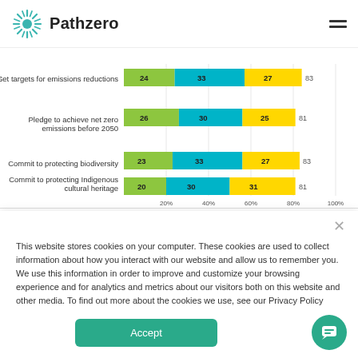Pathzero
[Figure (stacked-bar-chart): ]
This website stores cookies on your computer. These cookies are used to collect information about how you interact with our website and allow us to remember you. We use this information in order to improve and customize your browsing experience and for analytics and metrics about our visitors both on this website and other media. To find out more about the cookies we use, see our Privacy Policy
Accept